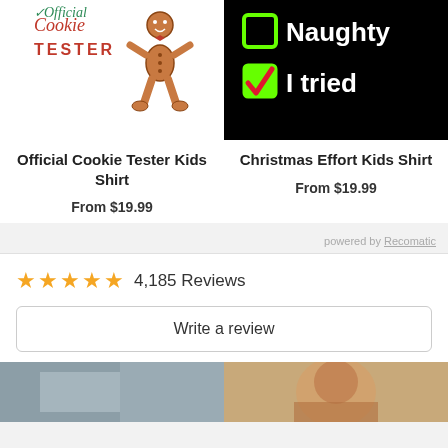[Figure (illustration): Official Cookie Tester Kids Shirt product image showing gingerbread man with text]
[Figure (illustration): Christmas Effort Kids Shirt product image: black background with checkboxes, unchecked Naughty, checked I tried]
Official Cookie Tester Kids Shirt
From $19.99
Christmas Effort Kids Shirt
From $19.99
powered by Recomatic
4,185 Reviews
Write a review
[Figure (photo): Partial photo, gray/dark tones]
[Figure (photo): Partial photo of a person, warm tones]